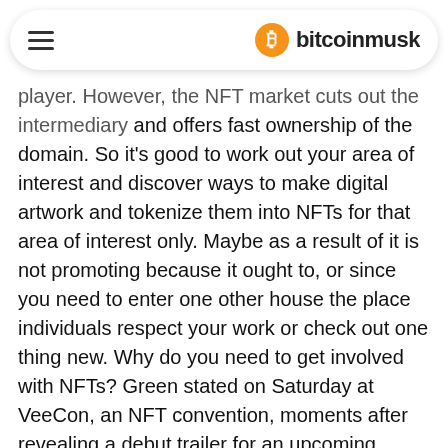bitcoinmusk
player. However, the NFT market cuts out the intermediary and offers fast ownership of the domain. So it's good to work out your area of interest and discover ways to make digital artwork and tokenize them into NFTs for that area of interest only. Maybe as a result of it is not promoting because it ought to, or since you need to enter one other house the place individuals respect your work or check out one thing new. Why do you need to get involved with NFTs? Green stated on Saturday at VeeCon, an NFT convention, moments after revealing a debut trailer for an upcoming present that may star NFTs from various collections. These are short movies of the very best moments in sports activities historical past, like sport-changing touchdowns or slam dunks. The safety of the memorable sports activities moments also depends on the platform they're posted on and their homeowners.